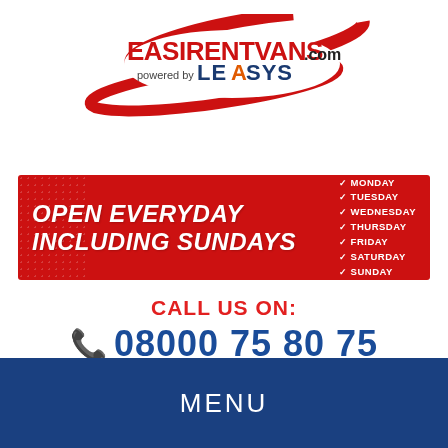[Figure (logo): EasirентVans.com logo powered by Leasys]
[Figure (infographic): Red banner: OPEN EVERYDAY INCLUDING SUNDAYS with days of the week listed]
CALL US ON:
08000 75 80 75
MANAGE MY BOOKING
Car Hire  |  Motorhomes
MENU